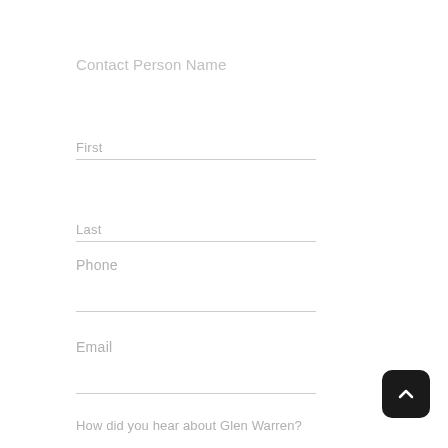Contact Person Name
First
Last
Phone
Email
How did you hear about Glen Warren?